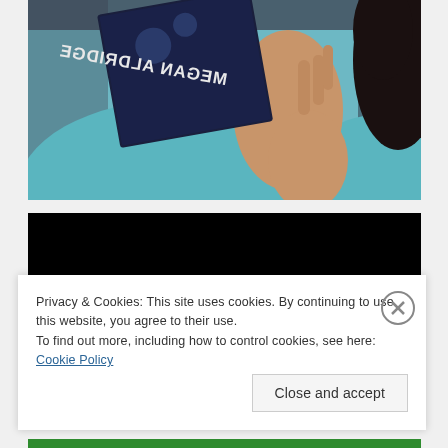[Figure (photo): A person in a teal/turquoise top holding a book with the text 'MEGAN ALDRIDGE' visible (mirrored) on the cover, with dark hair visible. The photo is cropped showing the upper body and the hand holding the book near the face.]
[Figure (screenshot): A black rectangle, likely a video player or embedded content area that is unloaded/blank.]
Privacy & Cookies: This site uses cookies. By continuing to use this website, you agree to their use.
To find out more, including how to control cookies, see here:
Cookie Policy
Close and accept